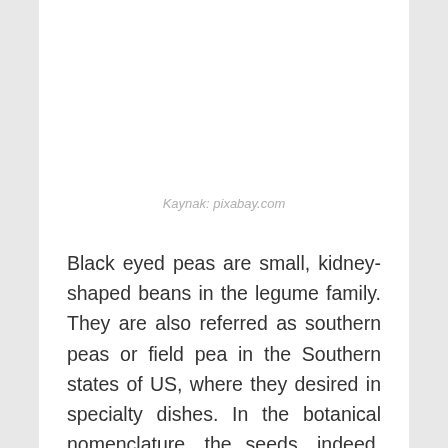Kaynak: pixabay.com
Black eyed peas are small, kidney-shaped beans in the legume family. They are also referred as southern peas or field pea in the Southern states of US, where they desired in specialty dishes. In the botanical nomenclature, the seeds, indeed, are a kind of fieldbeans and not belong to the peas